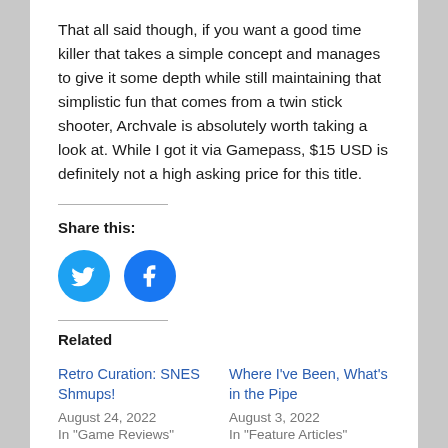That all said though, if you want a good time killer that takes a simple concept and manages to give it some depth while still maintaining that simplistic fun that comes from a twin stick shooter, Archvale is absolutely worth taking a look at. While I got it via Gamepass, $15 USD is definitely not a high asking price for this title.
Share this:
[Figure (other): Two circular social media share buttons: Twitter (blue, bird icon) and Facebook (blue, 'f' icon)]
Related
Retro Curation: SNES Shmups!
August 24, 2022
In "Game Reviews"
Where I've Been, What's in the Pipe
August 3, 2022
In "Feature Articles"